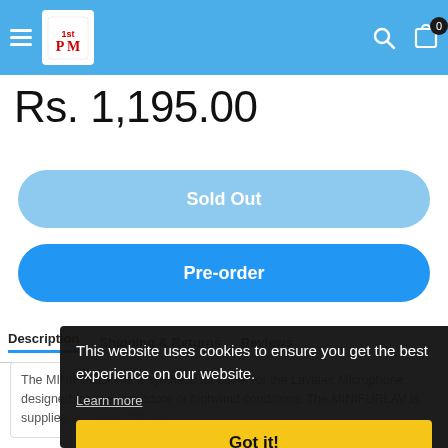Category: Rode
Navigation bar with logo, search, bag icons and cart badge 0
Rs. 1,195.00
Sold Out
Pre-order
Description   Shipping & Returns   Reviews
The MINIFURLAV is a synthetic fur cover for the Lavalier Microphone, designed for use in outdoor or highwind conditions. The MINIFURLAV is supplied in a pack of three
This website uses cookies to ensure you get the best experience on our website.
Learn more
Got it!